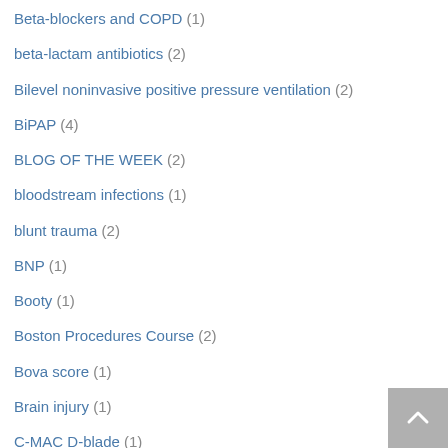Beta-blockers and COPD (1)
beta-lactam antibiotics (2)
Bilevel noninvasive positive pressure ventilation (2)
BiPAP (4)
BLOG OF THE WEEK (2)
bloodstream infections (1)
blunt trauma (2)
BNP (1)
Booty (1)
Boston Procedures Course (2)
Bova score (1)
Brain injury (1)
C-MAC D-blade (1)
C-spine clearance (1)
CABG (1)
Cancer (3)